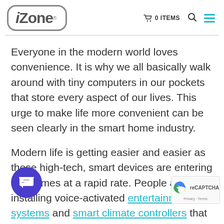iZone® | 0 ITEMS
Everyone in the modern world loves convenience. It is why we all basically walk around with tiny computers in our pockets that store every aspect of our lives. This urge to make life more convenient can be seen clearly in the smart home industry.
Modern life is getting easier and easier as these high-tech, smart devices are entering our homes at a rapid rate. People are installing voice-activated entertainment systems and smart climate controllers that can cut energy